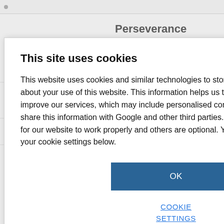Persevere rover reveals rocks on y exposed to
es for malaria
EDICINES FOR
ne workplace
atalyses first sters
This site uses cookies
This website uses cookies and similar technologies to store and retrieve information about your use of this website. This information helps us to provide, analyse and improve our services, which may include personalised content or advertising. We may share this information with Google and other third parties. Some cookies are necessary for our website to work properly and others are optional. You can review and configure your cookie settings below.
OK
COOKIE SETTINGS